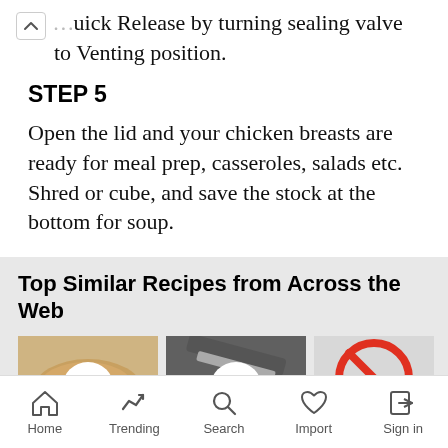Quick Release by turning sealing valve to Venting position.
STEP 5
Open the lid and your chicken breasts are ready for meal prep, casseroles, salads etc. Shred or cube, and save the stock at the bottom for soup.
Top Similar Recipes from Across the Web
[Figure (photo): Three recipe thumbnail images with heart/favorite buttons. First shows cooked chicken breasts, second shows chicken being cut, third shows a 'sorry' image with red circle-slash icon.]
Home  Trending  Search  Import  Sign in